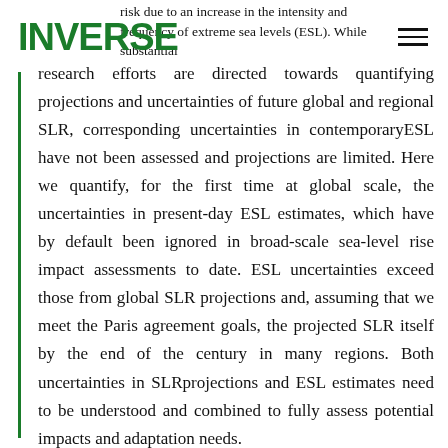risk due to an increase in the intensity and frequency of extreme sea levels (ESL). While substantial research efforts are directed towards quantifying projections and uncertainties of future global and regional SLR, corresponding uncertainties in contemporaryESL have not been assessed and projections are limited.
risk due to an increase in the intensity and frequency of extreme sea levels (ESL). While substantial research efforts are directed towards quantifying projections and uncertainties of future global and regional SLR, corresponding uncertainties in contemporaryESL have not been assessed and projections are limited. Here we quantify, for the first time at global scale, the uncertainties in present-day ESL estimates, which have by default been ignored in broad-scale sea-level rise impact assessments to date. ESL uncertainties exceed those from global SLR projections and, assuming that we meet the Paris agreement goals, the projected SLR itself by the end of the century in many regions. Both uncertainties in SLRprojections and ESL estimates need to be understood and combined to fully assess potential impacts and adaptation needs.